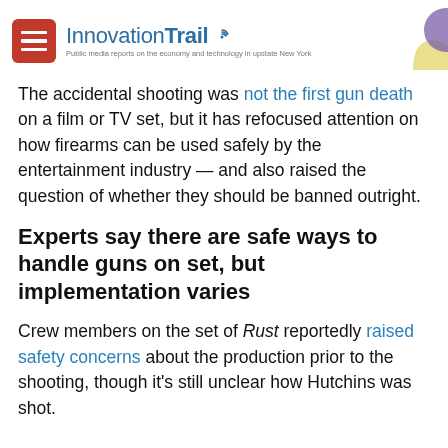InnovationTrail — Public media reports on the economy and technology in upstate New York
The accidental shooting was not the first gun death on a film or TV set, but it has refocused attention on how firearms can be used safely by the entertainment industry — and also raised the question of whether they should be banned outright.
Experts say there are safe ways to handle guns on set, but implementation varies
Crew members on the set of Rust reportedly raised safety concerns about the production prior to the shooting, though it's still unclear how Hutchins was shot.